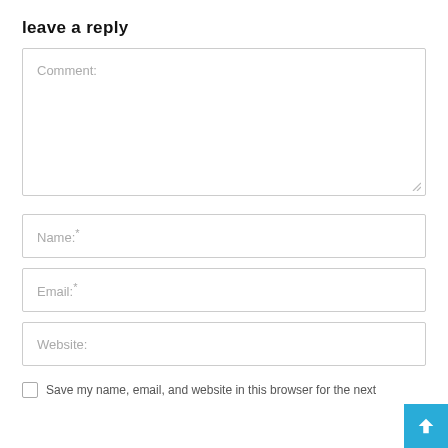leave a reply
Comment:
Name:*
Email:*
Website:
Save my name, email, and website in this browser for the next